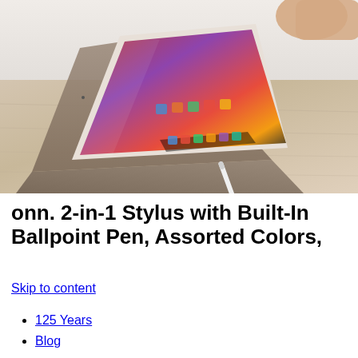[Figure (photo): Photo of an iPad propped up in a folio case on a wooden surface, with a hand touching the screen. Two stylus pens (one silver/metallic, one white with black tip) lie on the surface in front of the iPad.]
onn. 2-in-1 Stylus with Built-In Ballpoint Pen, Assorted Colors,
Skip to content
125 Years
Blog